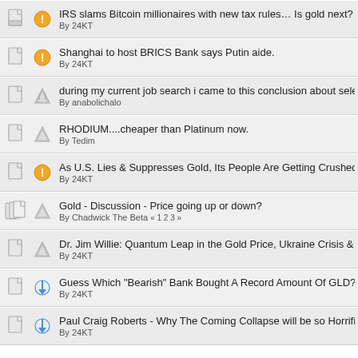IRS slams Bitcoin millionaires with new tax rules… Is gold next?
By 24KT
Shanghai to host BRICS Bank says Putin aide.
By 24KT
during my current job search i came to this conclusion about select agenciesz
By anabolichalo
RHODIUM....cheaper than Platinum now.
By Tedim
As U.S. Lies & Suppresses Gold, Its People Are Getting Crushed
By 24KT
Gold - Discussion - Price going up or down?
By Chadwick The Beta « 1 2 3 »
Dr. Jim Willie: Quantum Leap in the Gold Price, Ukraine Crisis & M
By 24KT
Guess Which "Bearish" Bank Bought A Record Amount Of GLD?
By 24KT
Paul Craig Roberts - Why The Coming Collapse will be so Horrific
By 24KT